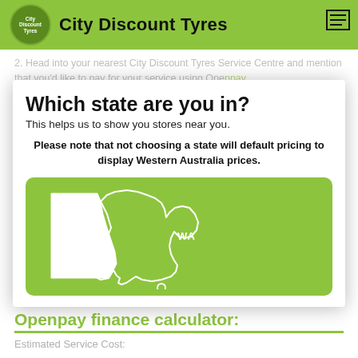City Discount Tyres
2. Head into your nearest City Discount Tyres Service Centre and mention that you'd like to pay for your service using Openpay.
Which state are you in?
This helps us to show you stores near you.
Please note that not choosing a state will default pricing to display Western Australia prices.
[Figure (illustration): Green rounded rectangle card showing a white outline map of Australia with Western Australia highlighted/filled in white, and 'WA' label on the right side]
3. During checkout, select your next payment date and set your schedule on-the-spot. Payments can be made weekly or fortnightly to suit your budget and lifestyle!
Openpay finance calculator:
Estimated Service Cost: